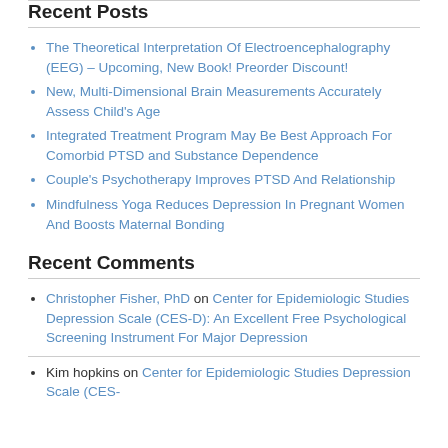Recent Posts
The Theoretical Interpretation Of Electroencephalography (EEG) – Upcoming, New Book! Preorder Discount!
New, Multi-Dimensional Brain Measurements Accurately Assess Child's Age
Integrated Treatment Program May Be Best Approach For Comorbid PTSD and Substance Dependence
Couple's Psychotherapy Improves PTSD And Relationship
Mindfulness Yoga Reduces Depression In Pregnant Women And Boosts Maternal Bonding
Recent Comments
Christopher Fisher, PhD on Center for Epidemiologic Studies Depression Scale (CES-D): An Excellent Free Psychological Screening Instrument For Major Depression
Kim hopkins on Center for Epidemiologic Studies Depression Scale (CES-